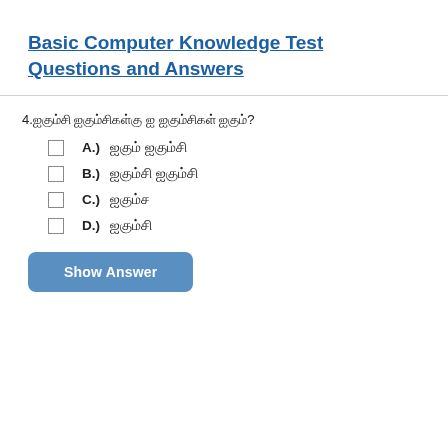Basic Computer Knowledge Test Questions and Answers
4.஀஀஀஀஀஀ ஀஀஀஀஀஀஀஀஀஀ ஀ ஀஀஀஀஀஀஀஀ ஀஀஀?
A.) ஀஀஀஀஀ ஀஀஀஀஀஀
B.) ஀஀஀஀஀஀ ஀஀஀஀஀஀
C.) ஀஀஀஀஀
D.) ஀஀஀஀஀஀
Show Answer